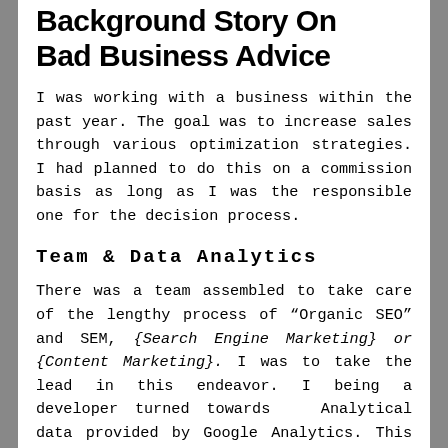Background Story On Bad Business Advice
I was working with a business within the past year. The goal was to increase sales through various optimization strategies. I had planned to do this on a commission basis as long as I was the responsible one for the decision process.
Team & Data Analytics
There was a team assembled to take care of the lengthy process of “Organic SEO” and SEM, {Search Engine Marketing} or {Content Marketing}. I was to take the lead in this endeavor. I being a developer turned towards Analytical data provided by Google Analytics. This is how I had planned to see our progress. Analytics provides the